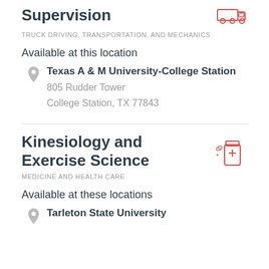Supervision
TRUCK DRIVING, TRANSPORTATION, AND MECHANICS
Available at this location
Texas A & M University-College Station
805 Rudder Tower
College Station, TX 77843
Kinesiology and Exercise Science
MEDICINE AND HEALTH CARE
Available at these locations
Tarleton State University